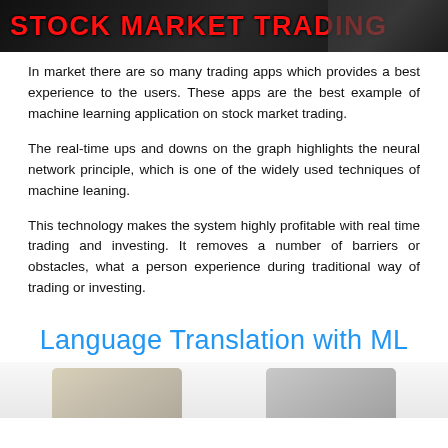[Figure (photo): Dark background banner image with bold red text reading 'STOCK MARKET TRADING' with keyboard visible in background]
In market there are so many trading apps which provides a best experience to the users. These apps are the best example of machine learning application on stock market trading.
The real-time ups and downs on the graph highlights the neural network principle, which is one of the widely used techniques of machine leaning.
This technology makes the system highly profitable with real time trading and investing. It removes a number of barriers or obstacles, what a person experience during traditional way of trading or investing.
Language Translation with ML
[Figure (photo): Bottom partial image showing two laptops side by side]